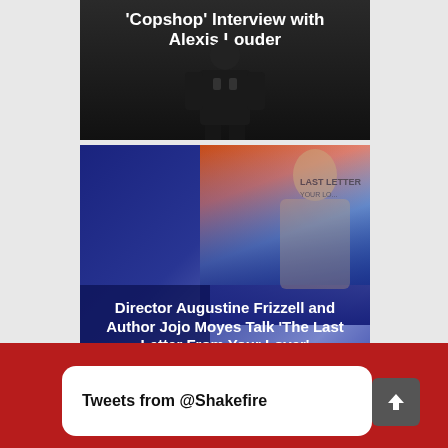[Figure (photo): Dark cropped image card for Copshop interview. White bold text overlay reads: 'Copshop' Interview with Alexis Louder. Dark background with a silhouetted figure.]
[Figure (photo): Image card for The Last Letter From Your Lover. Dark blue background with a sunset/orange-blue gradient and a person visible. White bold text overlay reads: Director Augustine Frizzell and Author Jojo Moyes Talk 'The Last Letter From Your Lover']
Tweets from @Shakefire